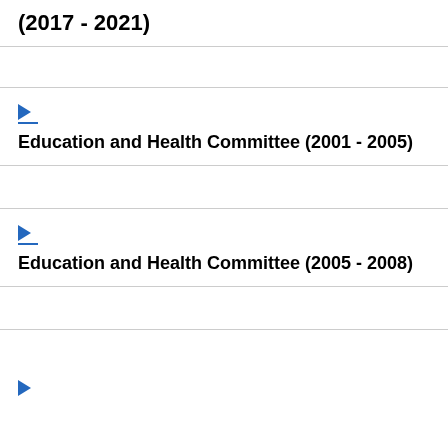(2017 - 2021)
Education and Health Committee (2001 - 2005)
Education and Health Committee (2005 - 2008)